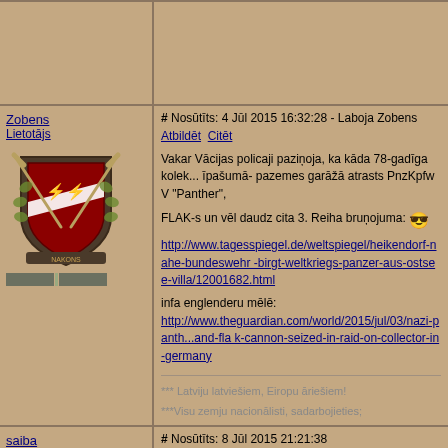Zobens
Lietotājs
[Figure (illustration): Coat of arms / shield logo with crossed swords and laurel wreath, red shield with white diagonal stripe and symbol in center, ribbon at bottom reading 'NAKONS']
# Nosūtīts: 4 Jūl 2015 16:32:28 - Laboja Zobens
Atbildēt Citēt

Vakar Vācijas policaji paziņoja, ka kāda 78-gadīga kolek... īpašumā- pazemes garāžā atrasts PnzKpfw V "Panther",
FLAK-s un vēl daudz cita 3. Reiha bruņojuma:

http://www.tagesspiegel.de/weltspiegel/heikendorf-nahe-bundeswehr -birgt-weltkriegs-panzer-aus-ostsee-villa/12001682.html

infa englenderu mēlē:
http://www.theguardian.com/world/2015/jul/03/nazi-panth...and-fla k-cannon-seized-in-raid-on-collector-in-germany

*** Latviju latviešiem, Eiropu āriešiem!

***Visu zemju nacionālisti, sadarbojieties;
saiba
Lietotājs
# Nosūtīts: 8 Jūl 2015 21:21:38
Atbildēt Citēt